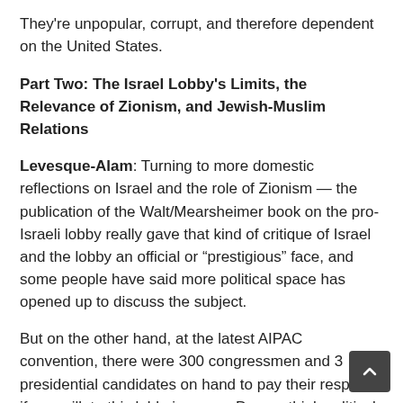They're unpopular, corrupt, and therefore dependent on the United States.
Part Two: The Israel Lobby's Limits, the Relevance of Zionism, and Jewish-Muslim Relations
Levesque-Alam: Turning to more domestic reflections on Israel and the role of Zionism — the publication of the Walt/Mearsheimer book on the pro-Israeli lobby really gave that kind of critique of Israel and the lobby an official or “prestigious” face, and some people have said more political space has opened up to discuss the subject.
But on the other hand, at the latest AIPAC convention, there were 300 congressmen and 3 presidential candidates on hand to pay their respects, if you will, to this lobbying arm.  Do you think political space has really opened up to discuss this subject without one being smeared as an anti-Semitic?